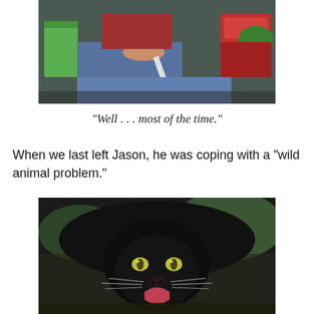[Figure (photo): Partial photo showing a person sitting cross-legged on the ground with a green object and a box/bag visible]
“Well . . . most of the time.”
When we last left Jason, he was coping with a “wild animal problem.”
[Figure (photo): Close-up photo of a black panther / jaguar facing the camera with glowing yellow-green eyes, whiskers spread, and mouth slightly open showing its pink tongue]